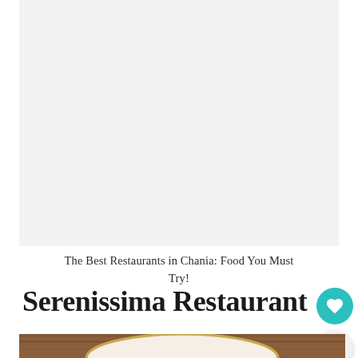[Figure (photo): Light gray/white background image area at the top of the page, largely blank/white placeholder]
The Best Restaurants in Chania: Food You Must Try!
Serenissima Restaurant
[Figure (photo): Close-up photo of a bowl or plate with food on a wooden surface, partially visible at the bottom of the page]